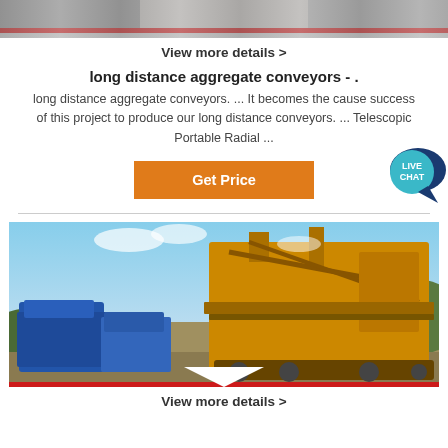[Figure (photo): Partial top strip of industrial conveyor/mining equipment photo]
View more details >
long distance aggregate conveyors - .
long distance aggregate conveyors. ... It becomes the cause success of this project to produce our long distance conveyors. ... Telescopic Portable Radial ...
[Figure (other): LIVE CHAT badge/button in teal/dark blue]
Get Price
[Figure (photo): Photo of large yellow mining/crushing machinery and blue trucks at an industrial site with hills and sky in background]
View more details >